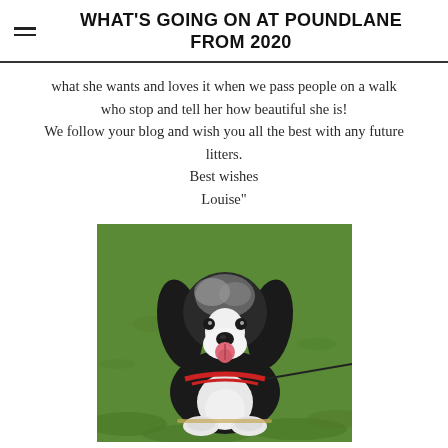WHAT'S GOING ON AT POUNDLANE FROM 2020
what she wants and loves it when we pass people on a walk who stop and tell her how beautiful she is!
We follow your blog and wish you all the best with any future litters.
Best wishes
Louise"
[Figure (photo): A black and white Cavalier King Charles Spaniel dog wearing a red harness/lead, sitting on green grass and looking up at the camera with tongue out, smiling.]